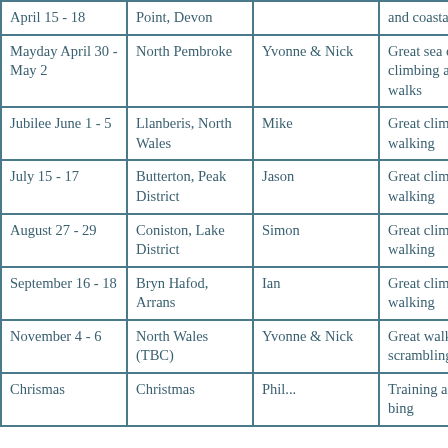| April 15 - 18 | Point, Devon |  | and coastal walks |
| Mayday April 30 - May 2 | North Pembroke | Yvonne & Nick | Great sea cliff climbing and coastal walks |
| Jubilee June 1 - 5 | Llanberis, North Wales | Mike | Great climbing and walking |
| July 15 - 17 | Butterton, Peak District | Jason | Great climbing and walking |
| August 27 - 29 | Coniston, Lake District | Simon | Great climbing and walking |
| September 16 - 18 | Bryn Hafod, Arrans | Ian | Great climbing and walking |
| November 4 - 6 | North Wales (TBC) | Yvonne & Nick | Great walking and scrambling |
| Christmas | Christmas | Christmas | Training and climbing |